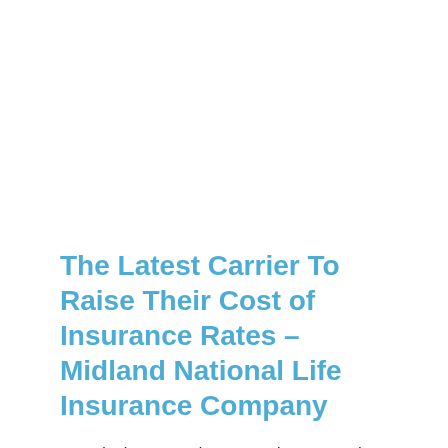The Latest Carrier To Raise Their Cost of Insurance Rates – Midland National Life Insurance Company
Over the last several years, we have posted several entries dealing with the cost of insurance (COI) increases we have seen in Current Assumption Universal life (CAUL) policies.  Starting back in 2015, we were among the first to bring notice on this issue. This week, our Iowa office received yet another COI notice from a